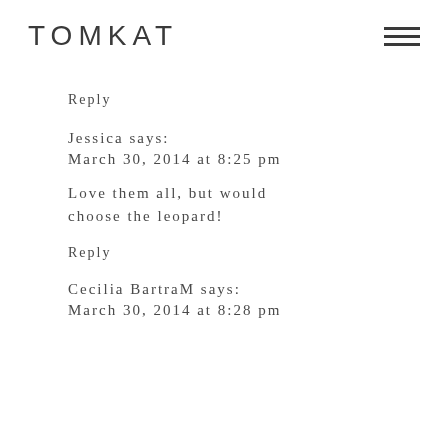TOMKAT
Reply
Jessica says:
March 30, 2014 at 8:25 pm
Love them all, but would choose the leopard!
Reply
Cecilia BartraM says:
March 30, 2014 at 8:28 pm